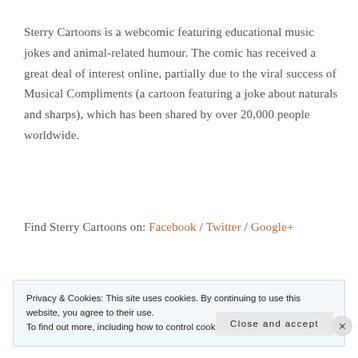Sterry Cartoons is a webcomic featuring educational music jokes and animal-related humour. The comic has received a great deal of interest online, partially due to the viral success of Musical Compliments (a cartoon featuring a joke about naturals and sharps), which has been shared by over 20,000 people worldwide.
Find Sterry Cartoons on: Facebook / Twitter / Google+
Privacy & Cookies: This site uses cookies. By continuing to use this website, you agree to their use.
To find out more, including how to control cookies, see here: Cookie Policy
Close and accept